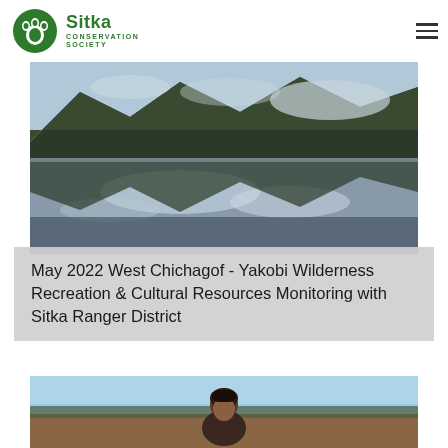Sitka Conservation Society
[Figure (photo): Landscape photo of a wilderness lake reflecting forested mountains and clouds at dusk/dawn, West Chichagof-Yakobi area]
May 2022 West Chichagof - Yakobi Wilderness Recreation & Cultural Resources Monitoring with Sitka Ranger District
[Figure (photo): Portrait photo of a person outdoors in a natural setting with sky and trees in background]